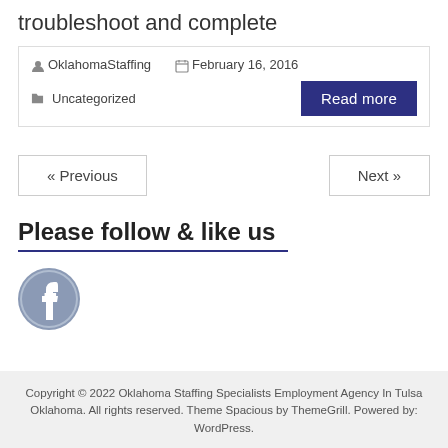troubleshoot and complete
OklahomaStaffing   February 16, 2016   Uncategorized
Read more
« Previous
Next »
Please follow & like us
[Figure (logo): Facebook logo icon, circular, blue-grey tones]
Copyright © 2022 Oklahoma Staffing Specialists Employment Agency In Tulsa Oklahoma. All rights reserved. Theme Spacious by ThemeGrill. Powered by: WordPress.